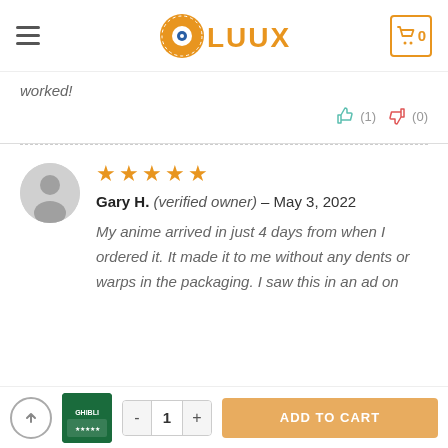OLUUX - Navigation header with logo, hamburger menu, and cart icon showing 0
worked!
👍 (1)  👎 (0)
[Figure (illustration): Gray user avatar circle icon for reviewer Gary H.]
★★★★★ Gary H. (verified owner) – May 3, 2022
My anime arrived in just 4 days from when I ordered it. It made it to me without any dents or warps in the packaging. I saw this in an ad on
Scroll-to-top button, product thumbnail, quantity selector (1), ADD TO CART button